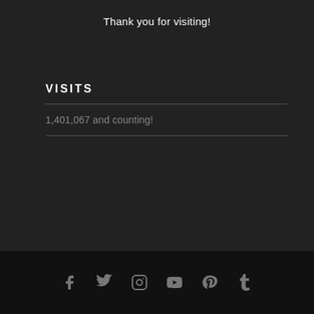Thank you for visiting!
VISITS
1,401,067 and counting!
[Figure (infographic): Social media icons row: Facebook, Twitter, Instagram, YouTube, Pinterest, Tumblr]